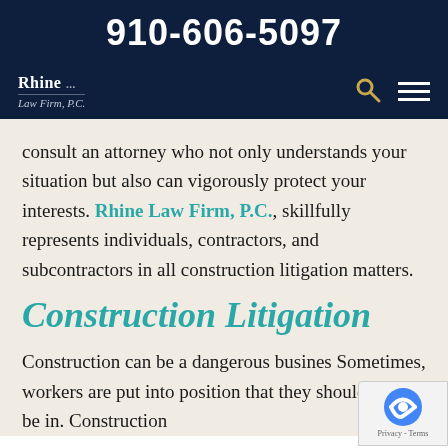910-606-5097
[Figure (logo): Rhine Law Firm, P.C. logo in white text on dark navy background]
consult an attorney who not only understands your situation but also can vigorously protect your interests. Rhine Law Firm, P.C., skillfully represents individuals, contractors, and subcontractors in all construction litigation matters.
Construction Litigation
Construction can be a dangerous business. Sometimes, workers are put into positions that they should never be in. Construction